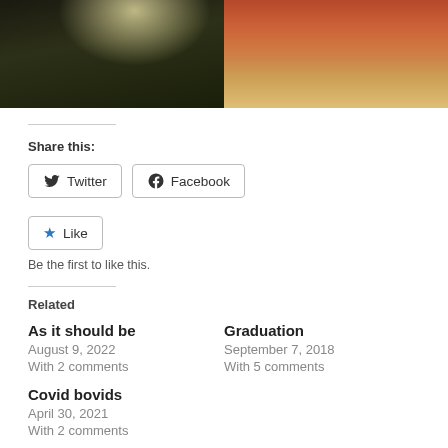[Figure (photo): Two side-by-side photos: left shows a misty forest scene with light filtering through trees; right shows an orange-red cloudy sunset sky]
Share this:
Twitter  Facebook
Like  Be the first to like this.
Related
As it should be
August 9, 2022
With 2 comments
Graduation
September 7, 2018
With 5 comments
Covid bovids
April 30, 2021
With 2 comments